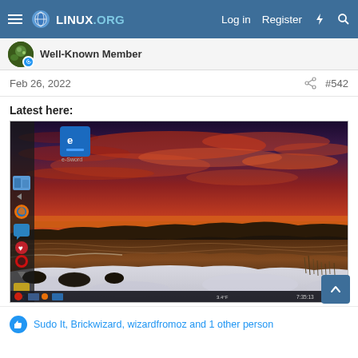LINUX.ORG — Log in  Register
Well-Known Member
Feb 26, 2022  #542
Latest here:
[Figure (screenshot): Linux desktop screenshot showing a snowy coastal sunset wallpaper with vivid red/orange sky. Left side shows a vertical application dock with various app icons. Bottom taskbar visible with system tray icons and time 7:35:13.]
Sudo It, Brickwizard, wizardfromoz and 1 other person